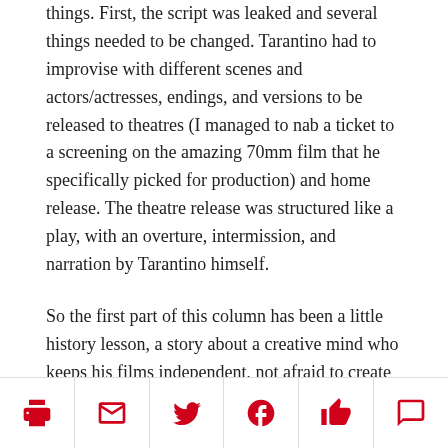things. First, the script was leaked and several things needed to be changed. Tarantino had to improvise with different scenes and actors/actresses, endings, and versions to be released to theatres (I managed to nab a ticket to a screening on the amazing 70mm film that he specifically picked for production) and home release. The theatre release was structured like a play, with an overture, intermission, and narration by Tarantino himself.
So the first part of this column has been a little history lesson, a story about a creative mind who keeps his films independent, not afraid to create art against controversy and the influence of large production companies. But what makes his films so good? Here's where it gets a bit complicated. His films are honestly for everyone; those who enjoy romance, violence, politics, Western styles, modern
[print] [email] [twitter] [facebook] [like] [comment]